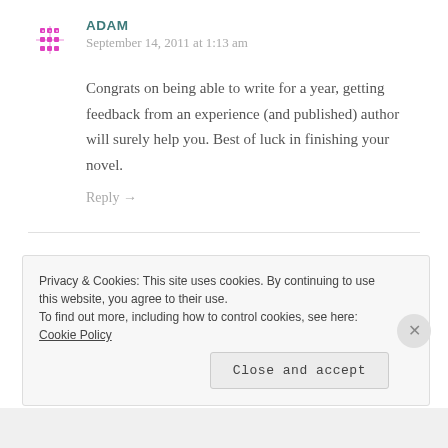ADAM
September 14, 2011 at 1:13 am
Congrats on being able to write for a year, getting feedback from an experience (and published) author will surely help you. Best of luck in finishing your novel.
Reply →
MARÉSE O'SULLIVAN
September 16, 2011 at 8:40 pm
Privacy & Cookies: This site uses cookies. By continuing to use this website, you agree to their use.
To find out more, including how to control cookies, see here: Cookie Policy
Close and accept